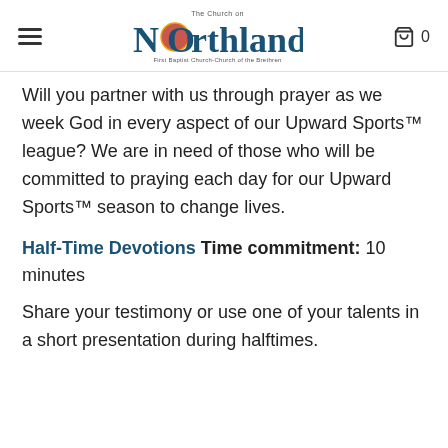The Church on Northland / First Baptist Church-Church of the Brethren | 0
Will you partner with us through prayer as we week God in every aspect of our Upward Sports™ league? We are in need of those who will be committed to praying each day for our Upward Sports™ season to change lives.
Half-Time Devotions Time commitment: 10 minutes
Share your testimony or use one of your talents in a short presentation during halftimes.